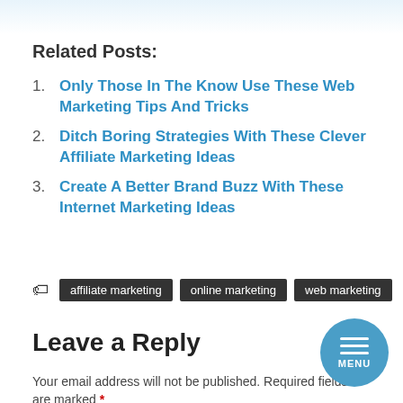[Figure (illustration): Partial image at the top of the page, faded/cropped]
Related Posts:
Only Those In The Know Use These Web Marketing Tips And Tricks
Ditch Boring Strategies With These Clever Affiliate Marketing Ideas
Create A Better Brand Buzz With These Internet Marketing Ideas
affiliate marketing  online marketing  web marketing
Leave a Reply
Your email address will not be published. Required fields are marked *